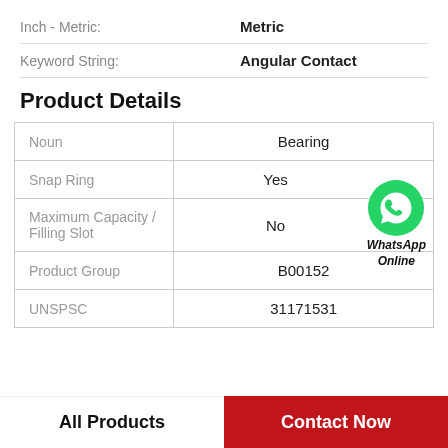Inch - Metric: Metric
Keyword String: Angular Contact
Product Details
|  |  |
| --- | --- |
| Noun | Bearing |
| Snap Ring | Yes |
| Maximum Capacity / Filling Slot | No |
| Product Group | B00152 |
| UNSPSC | 31171531 |
[Figure (logo): WhatsApp green phone icon with text 'WhatsApp Online']
All Products
Contact Now